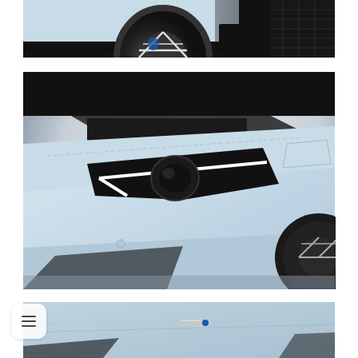[Figure (photo): Close-up detail shot of a light blue sports car wheel and lower body panel with black carbon fiber accents, dark background]
[Figure (photo): Close-up detail shot of a light blue sports car front end showing the LED headlight housing, hood panel with stitching detail, side mirror, and partial front wheel on a light grey gradient background]
[Figure (photo): Partial view of a light blue sports car body panel showing a small chrome badge and blue accent detail, cropped at bottom of page]